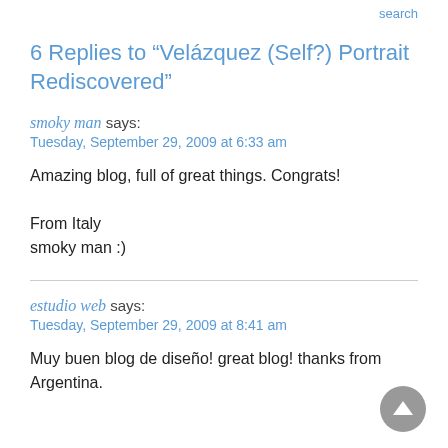search
6 Replies to “Velázquez (Self?) Portrait Rediscovered”
smoky man says:
Tuesday, September 29, 2009 at 6:33 am
Amazing blog, full of great things. Congrats!

From Italy
smoky man :)
estudio web says:
Tuesday, September 29, 2009 at 8:41 am
Muy buen blog de diseño! great blog! thanks from Argentina.